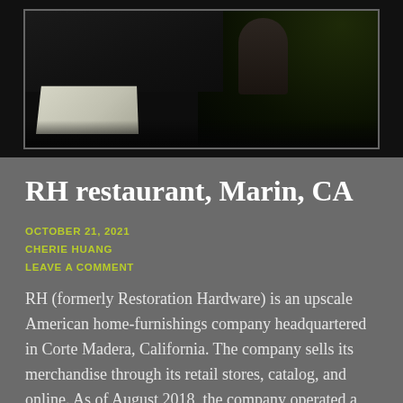[Figure (photo): Dark interior photo of RH restaurant at night, showing a white table in the foreground, a person seated, and dark foliage in the background. Framed with a thin border.]
RH restaurant, Marin, CA
OCTOBER 21, 2021
CHERIE HUANG
LEAVE A COMMENT
RH (formerly Restoration Hardware) is an upscale American home-furnishings company headquartered in Corte Madera, California. The company sells its merchandise through its retail stores, catalog, and online. As of August 2018, the company operated a total of 70 galleries, 18 full-line